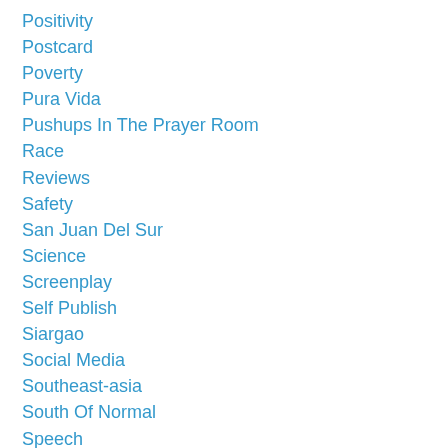Positivity
Postcard
Poverty
Pura Vida
Pushups In The Prayer Room
Race
Reviews
Safety
San Juan Del Sur
Science
Screenplay
Self Publish
Siargao
Social Media
Southeast-asia
South Of Normal
Speech
Sri Lanka
Story
Surf